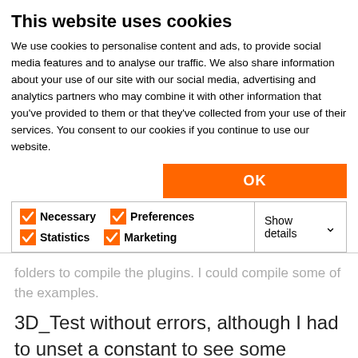This website uses cookies
We use cookies to personalise content and ads, to provide social media features and to analyse our traffic. We also share information about your use of our site with our social media, advertising and analytics partners who may combine it with other information that you've provided to them or that they've collected from your use of their services. You consent to our cookies if you continue to use our website.
OK
Necessary  Preferences  Statistics  Marketing  Show details
folders to compile the plugins. I could compile some of the examples.
3D_Test without errors, although I had to unset a constant to see some output in the Report window in file "APICommon.c".
And set the Developer ID obviously.